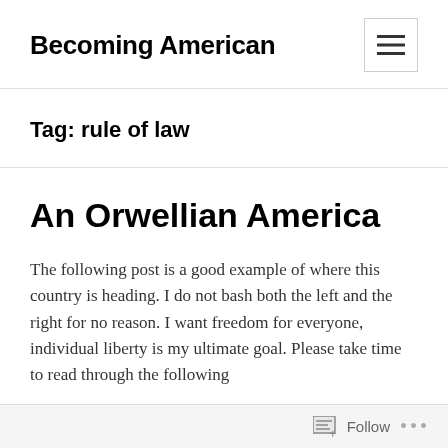Becoming American
Tag: rule of law
An Orwellian America
The following post is a good example of where this country is heading. I do not bash both the left and the right for no reason. I want freedom for everyone, individual liberty is my ultimate goal. Please take time to read through the following
Follow